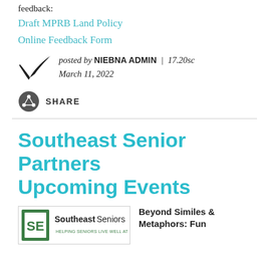feedback:
Draft MPRB Land Policy
Online Feedback Form
posted by NIEBNA ADMIN | 17.20sc March 11, 2022
[Figure (logo): Bird/checkmark logo icon]
[Figure (logo): Share network icon button with SHARE label]
Southeast Senior Partners Upcoming Events
[Figure (logo): Southeast Seniors - Helping Seniors Live Well At Home logo]
Beyond Similes & Metaphors: Fun